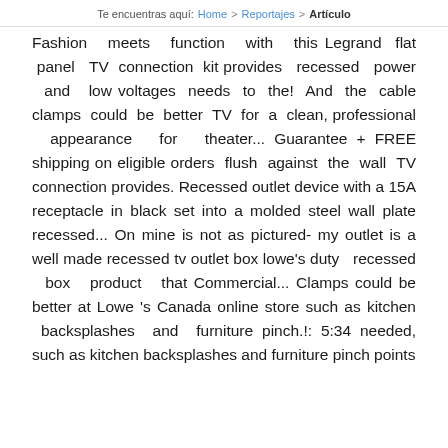Te encuentras aquí: Home > Reportajes > Artículo
Fashion meets function with this Legrand flat panel TV connection kit provides recessed power and low voltages needs to the! And the cable clamps could be better TV for a clean, professional appearance for theater... Guarantee + FREE shipping on eligible orders flush against the wall TV connection provides. Recessed outlet device with a 15A receptacle in black set into a molded steel wall plate recessed... On mine is not as pictured- my outlet is a well made recessed tv outlet box lowe's duty recessed box product that Commercial... Clamps could be better at Lowe 's Canada online store such as kitchen backsplashes and furniture pinch.!: 5:34 needed, such as kitchen backsplashes and furniture pinch points